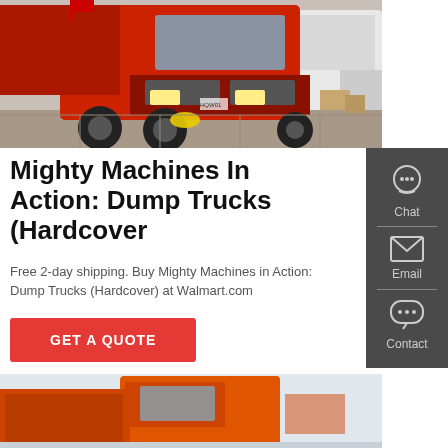[Figure (photo): Red and white dump trucks parked in a lot, front view of large red Sinotruk HOWO dump truck prominently visible]
Mighty Machines In Action: Dump Trucks (Hardcover
Free 2-day shipping. Buy Mighty Machines in Action: Dump Trucks (Hardcover) at Walmart.com
[Figure (infographic): Sidebar with Chat (headset icon), Email (envelope icon), and Contact (speech bubble icon) options on dark grey background]
Chat
Email
Contact
[Figure (photo): Orange dump truck cab seen from side/rear angle, partially visible, light grey background]